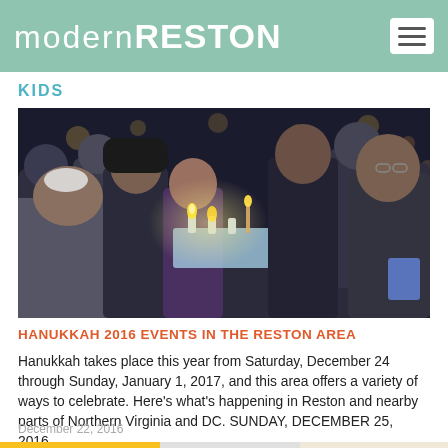modern RESTON
KIDS
[Figure (photo): Group of children and adults lighting a Hanukkah menorah made of ice at a nighttime outdoor event, with candles and celebrants gathered around it.]
HANUKKAH 2016 EVENTS IN THE RESTON AREA
Hanukkah takes place this year from Saturday, December 24 through Sunday, January 1, 2017, and this area offers a variety of ways to celebrate. Here's what's happening in Reston and nearby parts of Northern Virginia and DC. SUNDAY, DECEMBER 25, 2016…
December 22, 2016
[Figure (photo): Bottom strip showing partial images including a 'Surf's Up' colorful poster, a silhouette figure, and other partially visible imagery.]